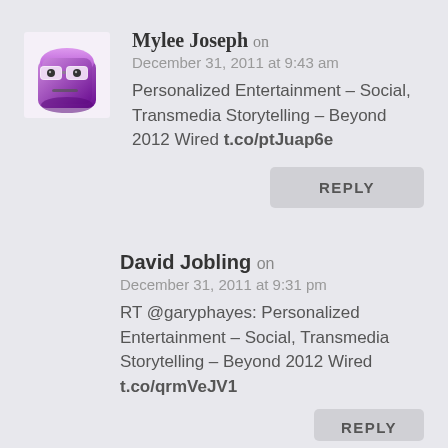[Figure (illustration): Purple cartoon avatar with glasses and neutral expression]
Mylee Joseph on December 31, 2011 at 9:43 am
Personalized Entertainment – Social, Transmedia Storytelling – Beyond 2012 Wired t.co/ptJuap6e
REPLY
David Jobling on December 31, 2011 at 9:31 pm
RT @garyphayes: Personalized Entertainment – Social, Transmedia Storytelling – Beyond 2012 Wired t.co/qrmVeJV1
REPLY